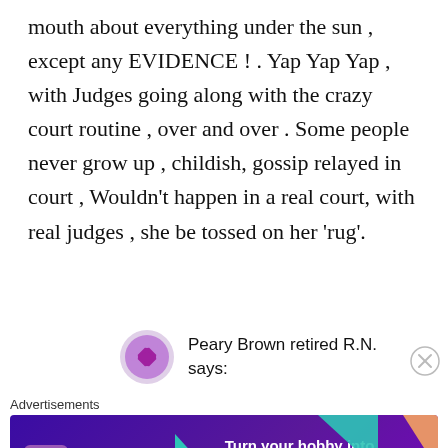mouth about everything under the sun , except any EVIDENCE ! . Yap Yap Yap , with Judges going along with the crazy court routine , over and over . Some people never grow up , childish, gossip relayed in court , Wouldn't happen in a real court, with real judges , she be tossed on her 'rug'.
Peary Brown retired R.N. says:
Advertisements
[Figure (other): WooCommerce advertisement banner: Turn your hobby into a business in 8 steps]